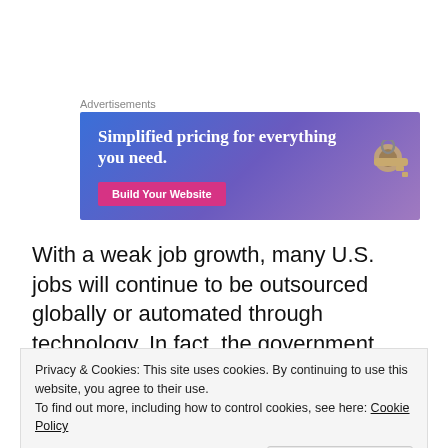Advertisements
[Figure (illustration): Advertisement banner with gradient blue-purple background. Text reads 'Simplified pricing for everything you need.' with a pink 'Build Your Website' button and a decorative key image on the right.]
With a weak job growth, many U.S. jobs will continue to be outsourced globally or automated through technology. In fact, the government estimates that an
Privacy & Cookies: This site uses cookies. By continuing to use this website, you agree to their use.
To find out more, including how to control cookies, see here: Cookie Policy

Close and accept
Statistics (BLS) data, the number of self-employed